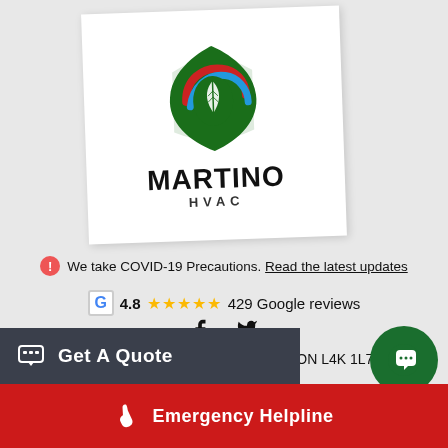[Figure (logo): Martino HVAC logo: green house/leaf shape with red and blue swirling arcs and a green leaf in the center, with MARTINO in bold black and HVAC below in spaced letters]
We take COVID-19 Precautions. Read the latest updates
G 4.8 ★★★★★ 429 Google reviews
f  (Twitter bird icon)
150 Connie Crescent #16, Vaughan, ON L4K 1L7, Canada
Get A Quote
Emergency Helpline